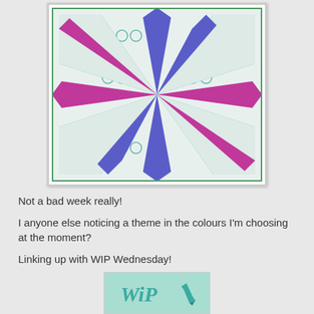[Figure (photo): A quilt block featuring an eight-pointed star design in magenta/pink, blue, and teal circle-patterned fabric on a white background.]
Not a bad week really!
I anyone else noticing a theme in the colours I'm choosing at the moment?
Linking up with WIP Wednesday!
[Figure (logo): WIP Wednesday logo button — teal/mint colored square with 'WiP' lettering and a pencil icon.]